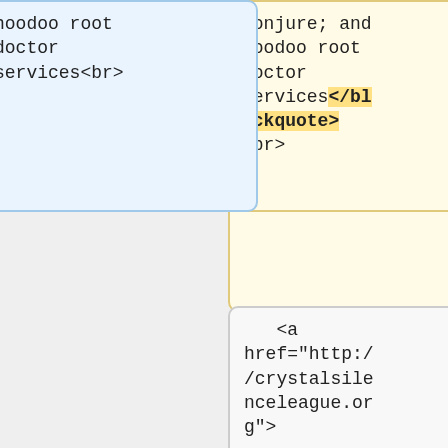conjure; and hoodoo root doctor services</blockquote> <br>
hoodoo root doctor services<br>
<a href="http://crystalsilenceleague.org">
<a href="http://crystalsilenceleague.org">
<b>Crystal Silence League</b></a>:<br> <blockquote> a non-denominational site; post your
<b>Crystal Silence League</b></a>: a non-denominational site; post your prayers; pray for